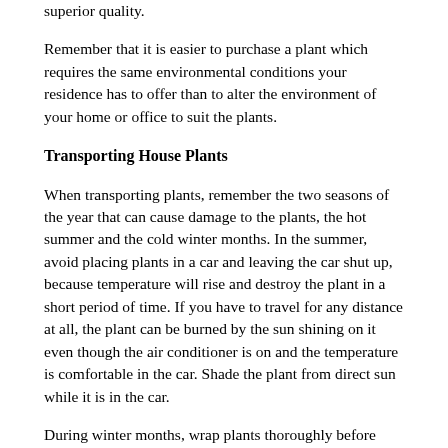superior quality.
Remember that it is easier to purchase a plant which requires the same environmental conditions your residence has to offer than to alter the environment of your home or office to suit the plants.
Transporting House Plants
When transporting plants, remember the two seasons of the year that can cause damage to the plants, the hot summer and the cold winter months. In the summer, avoid placing plants in a car and leaving the car shut up, because temperature will rise and destroy the plant in a short period of time. If you have to travel for any distance at all, the plant can be burned by the sun shining on it even though the air conditioner is on and the temperature is comfortable in the car. Shade the plant from direct sun while it is in the car.
During winter months, wrap plants thoroughly before leaving the store to carry them to your car. A short run from the store to the car in very low temperatures can kill or severely damage plants. Wrap plants thoroughly with newspaper or paper bags, and place in the front of the car and turn on the heater. The trunk of most